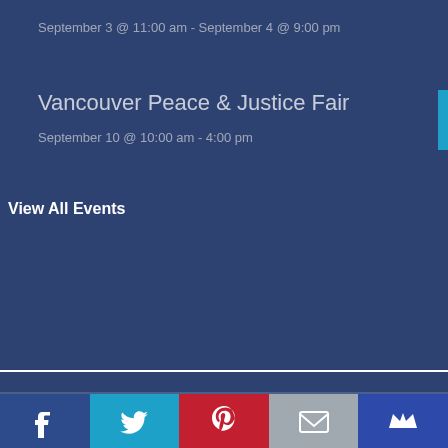September 3 @ 11:00 am - September 4 @ 9:00 pm
Vancouver Peace & Justice Fair
September 10 @ 10:00 am - 4:00 pm
View All Events
[Figure (infographic): Social media icons: Twitter bird, Facebook f, Instagram camera, Pinterest p circle]
[Figure (infographic): Share bar with Facebook (blue), Twitter (cyan), Pinterest (red), Email (gray), Crown (dark blue) buttons]